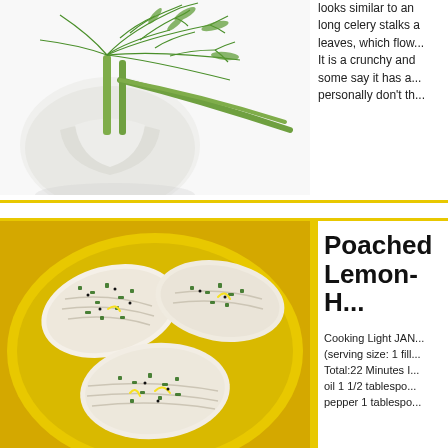[Figure (photo): A fennel bulb with fronds lying on a white background]
looks similar to an onion, with long celery stalks and feathery leaves, which flow... It is a crunchy and... some say it has a... personally don't th...
[Figure (photo): Poached fish fillets with herbs on a yellow plate]
Poached Lemon-H...
Cooking Light JAN... (serving size: 1 fill... Total:22 Minutes I... oil 1 1/2 tablespo... pepper 1 tablespo...